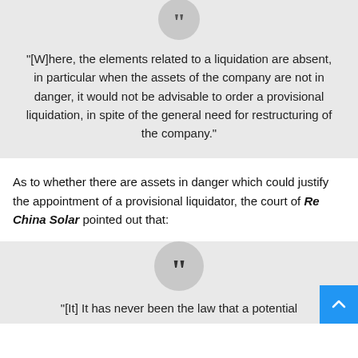[Figure (other): Decorative quote block with closing quotation mark icon in a grey circle, followed by a grey background box containing a legal quotation about provisional liquidation.]
"[W]here, the elements related to a liquidation are absent, in particular when the assets of the company are not in danger, it would not be advisable to order a provisional liquidation, in spite of the general need for restructuring of the company."
As to whether there are assets in danger which could justify the appointment of a provisional liquidator, the court of Re China Solar pointed out that:
[Figure (other): Decorative large closing quotation mark in a grey circle above a grey background box with a legal quotation beginning '[It] It has never been the law that a potential...']
"[It] It has never been the law that a potential